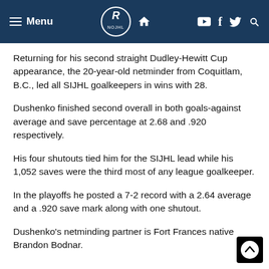Menu [hamburger] [logo] [home] [youtube] [facebook] [twitter] [search]
Returning for his second straight Dudley-Hewitt Cup appearance, the 20-year-old netminder from Coquitlam, B.C., led all SIJHL goalkeepers in wins with 28.
Dushenko finished second overall in both goals-against average and save percentage at 2.68 and .920 respectively.
His four shutouts tied him for the SIJHL lead while his 1,052 saves were the third most of any league goalkeeper.
In the playoffs he posted a 7-2 record with a 2.64 average and a .920 save mark along with one shutout.
Dushenko's netminding partner is Fort Frances native Brandon Bodnar.